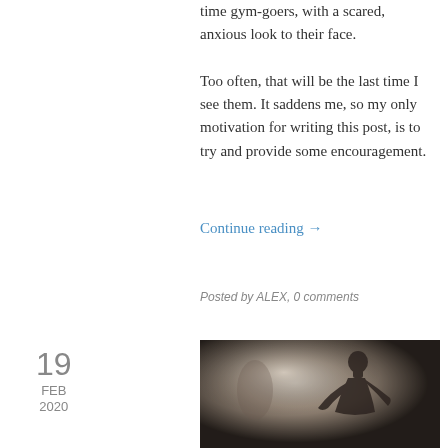time gym-goers, with a scared, anxious look to their face.
Too often, that will be the last time I see them. It saddens me, so my only motivation for writing this post, is to try and provide some encouragement.
Continue reading →
Posted by ALEX, 0 comments
19
FEB
2020
[Figure (photo): Black and white photo of a muscular man leaning forward in a gym, dramatic lighting with misty background]